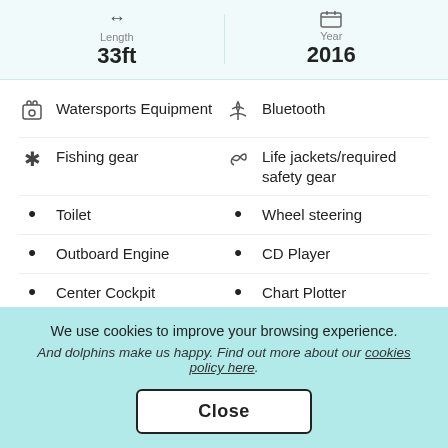33ft
2016
Watersports Equipment
Bluetooth
Fishing gear
Life jackets/required safety gear
Toilet
Wheel steering
Outboard Engine
CD Player
Center Cockpit
Chart Plotter
Twin Engine
Fuel type: Gas
We use cookies to improve your browsing experience. And dolphins make us happy. Find out more about our cookies policy here.